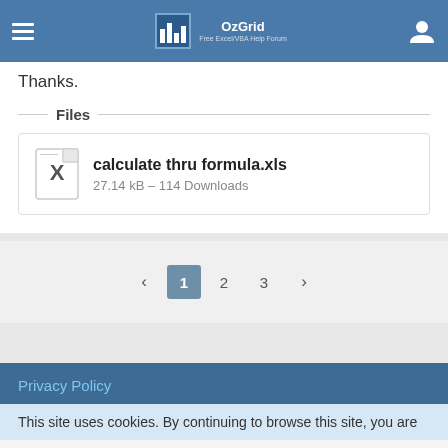OzGrid — Free Excel/VBA Help Forum
Thanks.
Files
calculate thru formula.xls
27.14 kB – 114 Downloads
‹  1  2  3  ›
Privacy Policy
This site uses cookies. By continuing to browse this site, you are